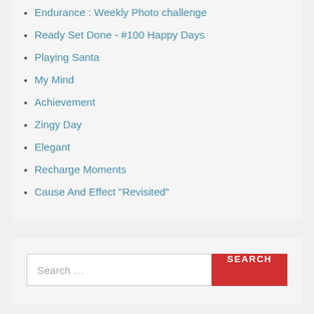Endurance : Weekly Photo challenge
Ready Set Done - #100 Happy Days
Playing Santa
My Mind
Achievement
Zingy Day
Elegant
Recharge Moments
Cause And Effect "Revisited"
Search …
SEARCH